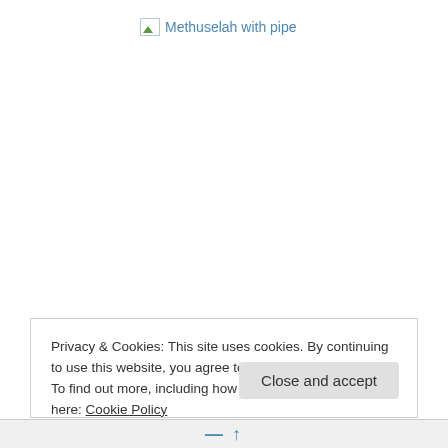[Figure (other): Broken image placeholder with alt text 'Methuselah with pipe']
Privacy & Cookies: This site uses cookies. By continuing to use this website, you agree to their use.
To find out more, including how to control cookies, see here: Cookie Policy
Close and accept